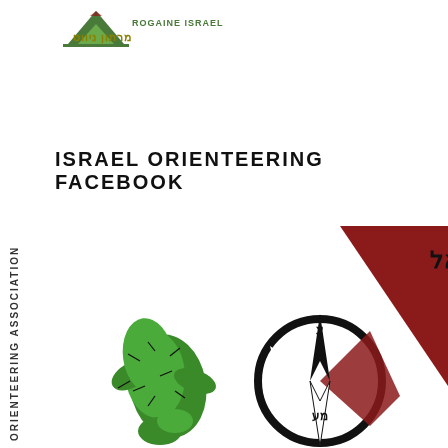[Figure (logo): Rogaine Israel logo with green mountain/triangle shape and text 'ROGAINE ISRAEL' in green and Hebrew text in olive/yellow]
ISRAEL ORIENTEERING FACEBOOK
[Figure (logo): Israel Orienteering Association logo with Hebrew text 'האיגוד לספורט הניווט בישראל', green cactus illustration, compass rose, red triangular shape, and vertical text 'ORIENTEERING ASSOCIATION']